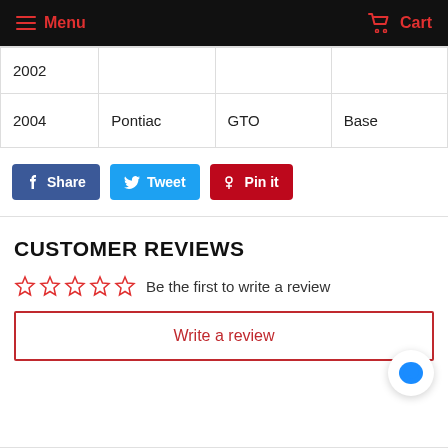Menu   Cart
| 2002 |  |  |  |
| 2004 | Pontiac | GTO | Base |
Share  Tweet  Pin it
CUSTOMER REVIEWS
☆☆☆☆☆  Be the first to write a review
Write a review